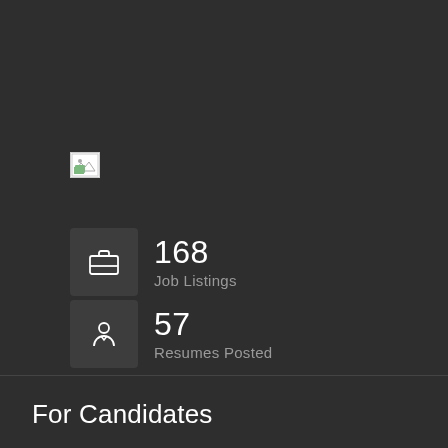[Figure (screenshot): Broken image placeholder icon (small white rectangle with green image symbol), positioned in upper-left area of the dark dashboard panel]
168
Job Listings
57
Resumes Posted
For Candidates